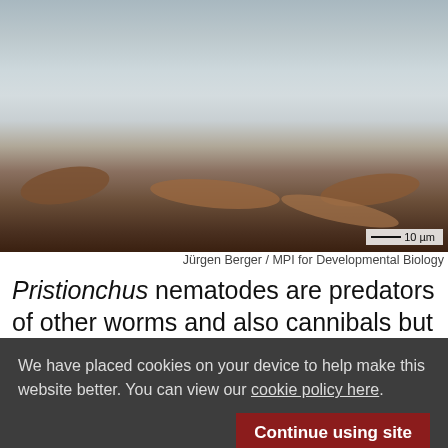[Figure (photo): Electron microscope image of Pristionchus nematodes on a light grey background with a scale bar showing 10 µm. Several worm-like organisms visible, some brownish. Scale bar bottom right.]
Jürgen Berger / MPI for Developmental Biology
Pristionchus nematodes are predators of other worms and also cannibals but a self-recognition system
We have placed cookies on your device to help make this website better. You can view our cookie policy here.
Continue using site